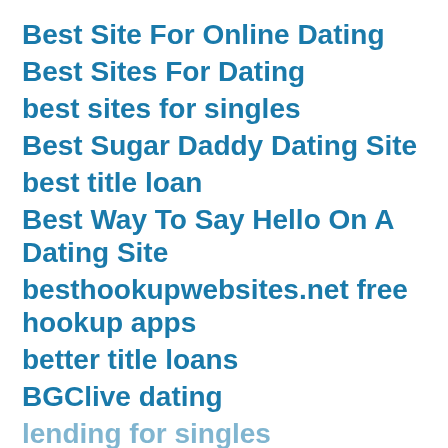Best Site For Online Dating
Best Sites For Dating
best sites for singles
Best Sugar Daddy Dating Site
best title loan
Best Way To Say Hello On A Dating Site
besthookupwebsites.net free hookup apps
better title loans
BGClive dating
lending for singles